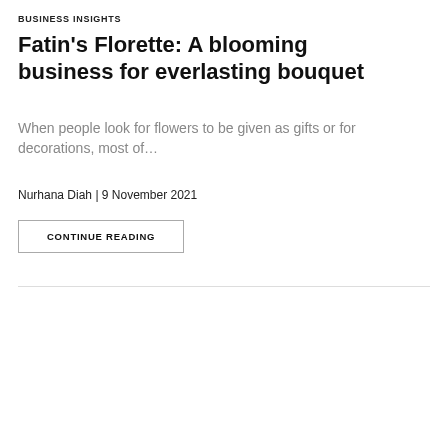BUSINESS INSIGHTS
Fatin's Florette: A blooming business for everlasting bouquet
When people look for flowers to be given as gifts or for decorations, most of…
Nurhana Diah | 9 November 2021
CONTINUE READING